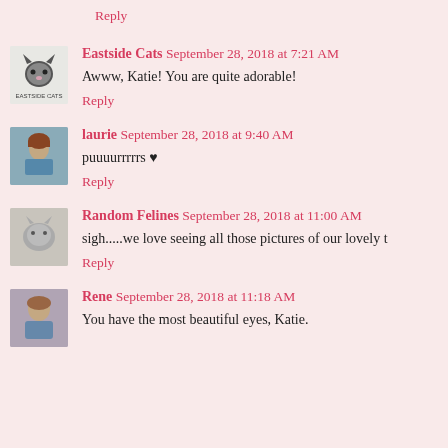Reply
Eastside Cats September 28, 2018 at 7:21 AM
Awww, Katie! You are quite adorable!
Reply
laurie September 28, 2018 at 9:40 AM
puuuurrrrrs ♥
Reply
Random Felines September 28, 2018 at 11:00 AM
sigh.....we love seeing all those pictures of our lovely t
Reply
Rene September 28, 2018 at 11:18 AM
You have the most beautiful eyes, Katie.